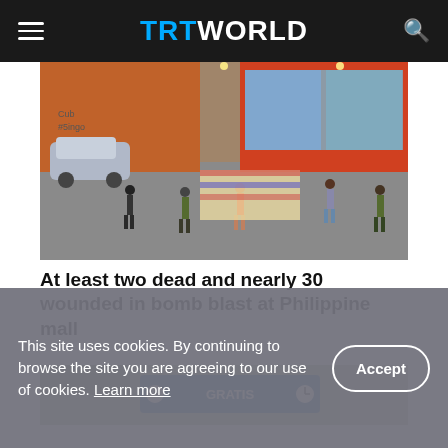TRT WORLD
[Figure (photo): Aerial/elevated view of a street scene outside a Philippine mall after a bomb blast. People and military/police personnel visible on the street. A parked silver car on the left. Orange building with graffiti. Storefronts with glass windows on the right.]
At least two dead and nearly 30 wounded in bomb blast at Philippine mall
[Figure (photo): Partial view of a second image related to the story, showing a blue sign and some structures.]
This site uses cookies. By continuing to browse the site you are agreeing to our use of cookies. Learn more